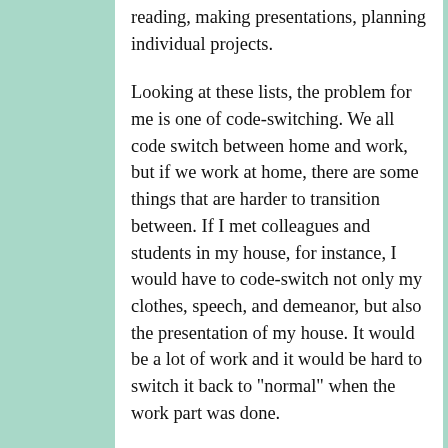reading, making presentations, planning individual projects.
Looking at these lists, the problem for me is one of code-switching. We all code switch between home and work, but if we work at home, there are some things that are harder to transition between. If I met colleagues and students in my house, for instance, I would have to code-switch not only my clothes, speech, and demeanor, but also the presentation of my house. It would be a lot of work and it would be hard to switch it back to "normal" when the work part was done.
But for things that don't require other people, that's less of an issue.
I know that there are studies saying multitasking doesn't work, that our brains can't handle more than one task at a time, and that we should focus on one task intensely before moving to the next one, but my personal experience doesn't match that. Maybe it's a